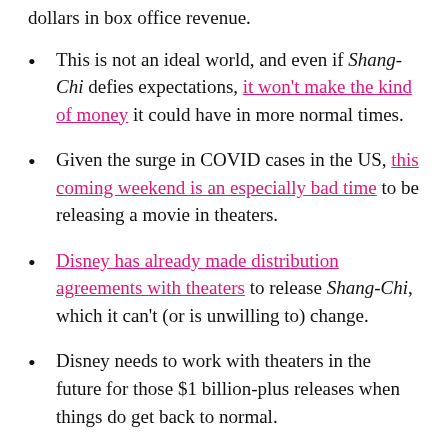dollars in box office revenue.
This is not an ideal world, and even if Shang-Chi defies expectations, it won't make the kind of money it could have in more normal times.
Given the surge in COVID cases in the US, this coming weekend is an especially bad time to be releasing a movie in theaters.
Disney has already made distribution agreements with theaters to release Shang-Chi, which it can't (or is unwilling to) change.
Disney needs to work with theaters in the future for those $1 billion-plus releases when things do get back to normal.
Shang-Chi has to come out where it does in...